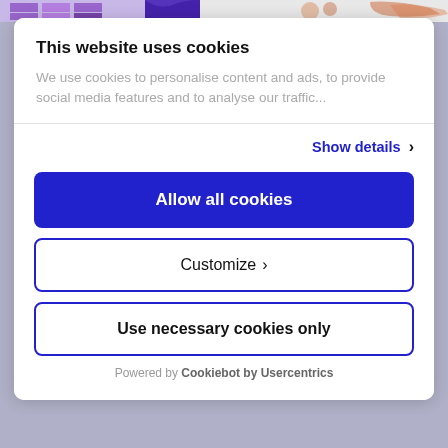[Figure (screenshot): Top strip showing partial website content with purple/orange graphical elements]
This website uses cookies
We use cookies to personalise content and ads, to provide social media features and to analyse our traffic...
Show details ›
Allow all cookies
Customize ›
Use necessary cookies only
Powered by Cookiebot by Usercentrics